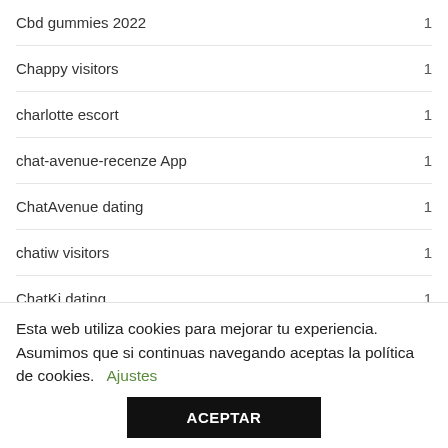Cbd gummies 2022  1
Chappy visitors  1
charlotte escort  1
chat-avenue-recenze App  1
ChatAvenue dating  1
chatiw visitors  1
ChatKi dating  1
chatrandom dating site  1
Esta web utiliza cookies para mejorar tu experiencia. Asumimos que si continuas navegando aceptas la política de cookies. Ajustes
ACEPTAR